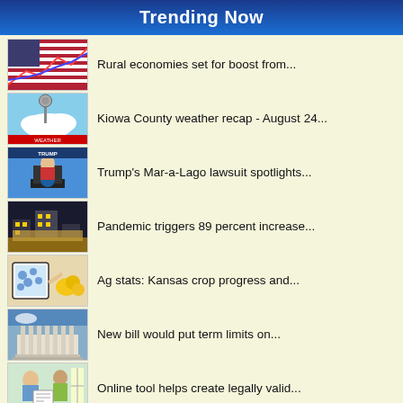Trending Now
Rural economies set for boost from...
Kiowa County weather recap - August 24...
Trump's Mar-a-Lago lawsuit spotlights...
Pandemic triggers 89 percent increase...
Ag stats: Kansas crop progress and...
New bill would put term limits on...
Online tool helps create legally valid...